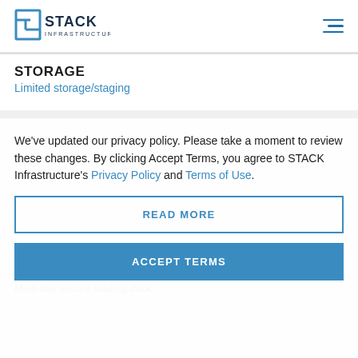[Figure (logo): STACK Infrastructure logo — rectangular S icon in blue with horizontal lines, text STACK in bold dark blue, INFRASTRUCTURE below in smaller text]
STORAGE
Limited storage/staging
We’ve updated our privacy policy. Please take a moment to review these changes. By clicking Accept Terms, you agree to STACK Infrastructure’s Privacy Policy and Terms of Use.
CLIENT CONVENIENCES
Bicycle storage
Multi-bay secure loading dock
POWER & …
COOLING & EFFICIENCY